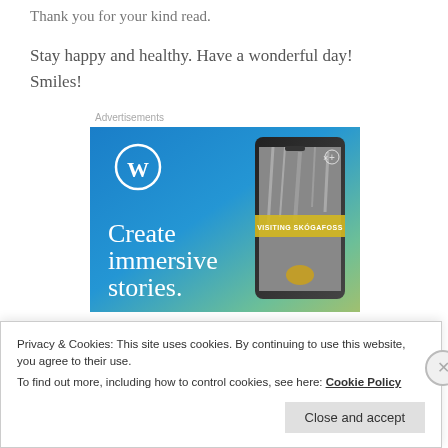Thank you for your kind read.
Stay happy and healthy. Have a wonderful day! Smiles!
Advertisements
[Figure (illustration): WordPress advertisement showing WordPress logo, text 'Create immersive stories.' and a smartphone mockup displaying a photo of a waterfall with label 'VISITING SKÓGAFOSS']
Privacy & Cookies: This site uses cookies. By continuing to use this website, you agree to their use. To find out more, including how to control cookies, see here: Cookie Policy
Close and accept